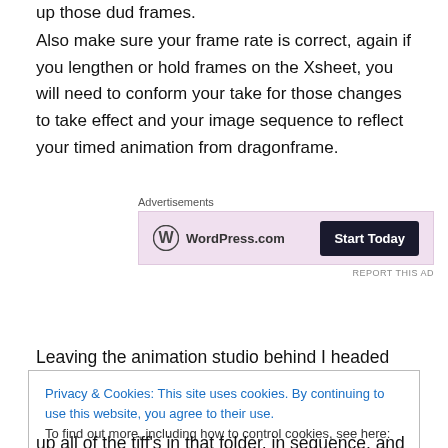up those dud frames.
Also make sure your frame rate is correct, again if you lengthen or hold frames on the Xsheet, you will need to conform your take for those changes to take effect and your image sequence to reflect your timed animation from dragonframe.
[Figure (other): WordPress.com advertisement banner with lavender background, WordPress logo on left and 'Start Today' dark button on right, with 'Advertisements' label above and 'REPORT THIS AD' text below.]
Leaving the animation studio behind I headed up to the
Privacy & Cookies: This site uses cookies. By continuing to use this website, you agree to their use.
To find out more, including how to control cookies, see here: Cookie Policy
up all of the tiff's in that folder, in sequence, and 'pre-